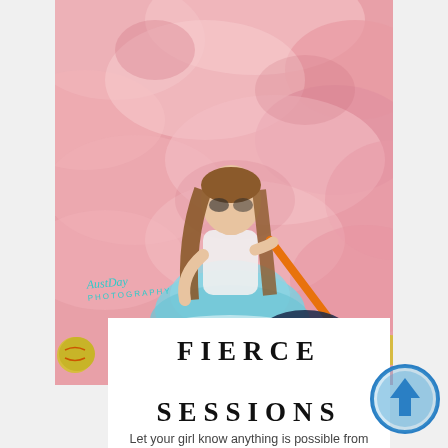[Figure (photo): A young girl in a blue tulle dress with face paint sitting against a pink cloudy background, holding an orange hockey stick, with sports equipment nearby. AustDay Photography watermark visible.]
FIERCE
SESSIONS
Let your girl know anything is possible from